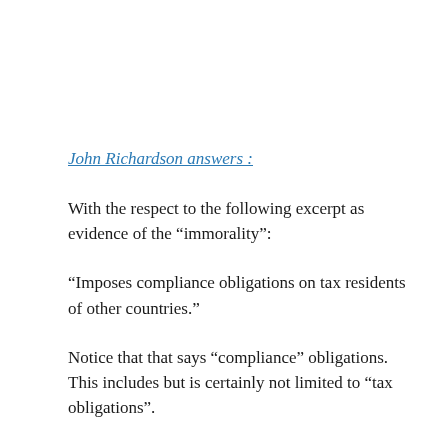John Richardson answers :
With the respect to the following excerpt as evidence of the “immorality”:
“Imposes compliance obligations on tax residents of other countries.”
Notice that that says “compliance” obligations. This includes but is certainly not limited to “tax obligations”.